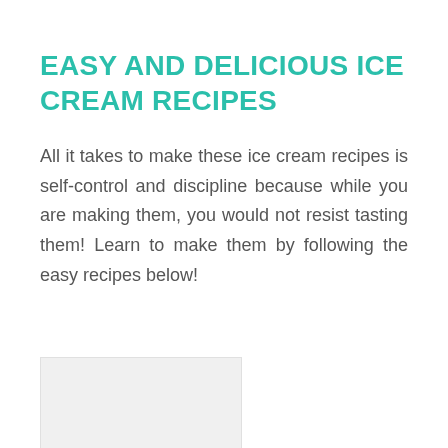EASY AND DELICIOUS ICE CREAM RECIPES
All it takes to make these ice cream recipes is self-control and discipline because while you are making them, you would not resist tasting them! Learn to make them by following the easy recipes below!
[Figure (photo): Partially visible image at the bottom left of the page, showing a light grey/white rectangular area suggesting a cropped photo]